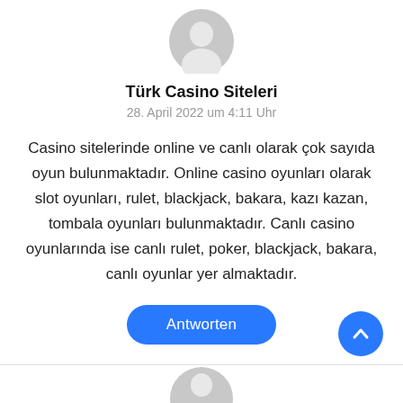[Figure (illustration): Gray user avatar icon (silhouette of person) at top center]
Türk Casino Siteleri
28. April 2022 um 4:11 Uhr
Casino sitelerinde online ve canlı olarak çok sayıda oyun bulunmaktadır. Online casino oyunları olarak slot oyunları, rulet, blackjack, bakara, kazı kazan, tombala oyunları bulunmaktadır. Canlı casino oyunlarında ise canlı rulet, poker, blackjack, bakara, canlı oyunlar yer almaktadır.
Antworten
[Figure (illustration): Blue circular scroll-to-top button with upward chevron arrow]
[Figure (illustration): Partial gray user avatar icon at bottom center]